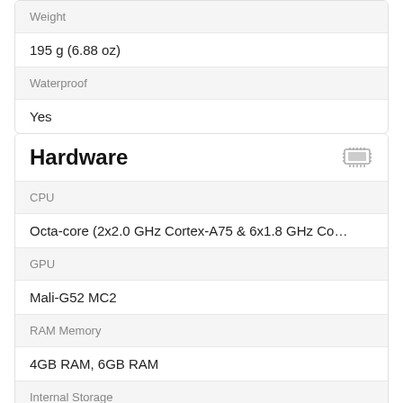| Weight |
| 195 g (6.88 oz) |
| Waterproof |
| Yes |
Hardware
| CPU |
| Octa-core (2x2.0 GHz Cortex-A75 & 6x1.8 GHz Co… |
| GPU |
| Mali-G52 MC2 |
| RAM Memory |
| 4GB RAM, 6GB RAM |
| Internal Storage |